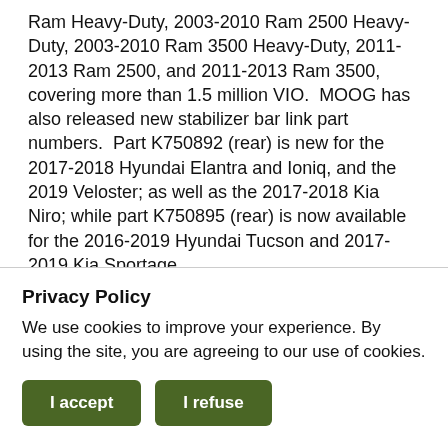Ram Heavy-Duty, 2003-2010 Ram 2500 Heavy-Duty, 2003-2010 Ram 3500 Heavy-Duty, 2011-2013 Ram 2500, and 2011-2013 Ram 3500, covering more than 1.5 million VIO.  MOOG has also released new stabilizer bar link part numbers.  Part K750892 (rear) is new for the 2017-2018 Hyundai Elantra and Ioniq, and the 2019 Veloster; as well as the 2017-2018 Kia Niro; while part K750895 (rear) is now available for the 2016-2019 Hyundai Tucson and 2017-2019 Kia Sportage.
"In 2018, MOOG continued its product expansion by offering over 500 new products throughout the course of the year," said Kim Plante, project management lead
Privacy Policy
We use cookies to improve your experience. By using the site, you are agreeing to our use of cookies.
I accept
I refuse